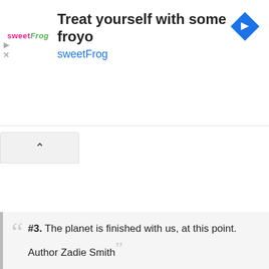[Figure (screenshot): Advertisement banner for sweetFrog frozen yogurt. Shows the sweetFrog logo on the left, headline 'Treat yourself with some froyo', brand name 'sweetFrog' in blue as a link, and a blue diamond navigation icon on the right. Small play and close (X) controls on the far left.]
[Figure (screenshot): A collapse/minimize UI button showing an upward caret (^) on a light gray background with rounded top corners.]
#3. The planet is finished with us, at this point. Author Zadie Smith